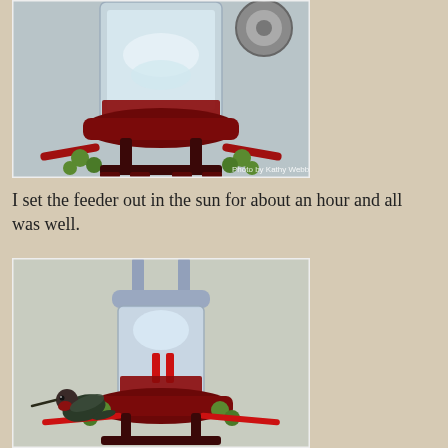[Figure (photo): Close-up photo of a hummingbird feeder with red nectar and green flower feeding ports, with a car wheel visible in the background. Text overlay reads 'Photo by Kathy Webb'.]
I set the feeder out in the sun for about an hour and all was well.
[Figure (photo): Photo of a hummingbird perched on the red perch of a hummingbird feeder, with the clear plastic reservoir visible and red nectar inside.]